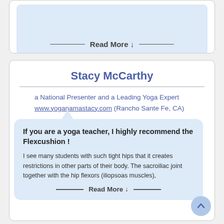Read More ↓
Stacy McCarthy
a National Presenter and a Leading Yoga Expert www.yoganamastacy.com (Rancho Sante Fe, CA)
If you are a yoga teacher, I highly recommend the Flexcushion !
I see many students with such tight hips that it creates restrictions in other parts of their body. The sacroiliac joint together with the hip flexors (iliopsoas muscles),
Read More ↓